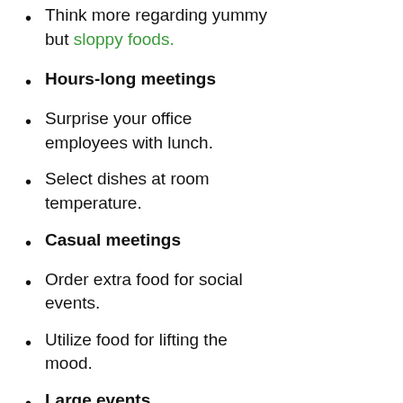Think more regarding yummy but sloppy foods.
Hours-long meetings
Surprise your office employees with lunch.
Select dishes at room temperature.
Casual meetings
Order extra food for social events.
Utilize food for lifting the mood.
Large events
Try portable bites like